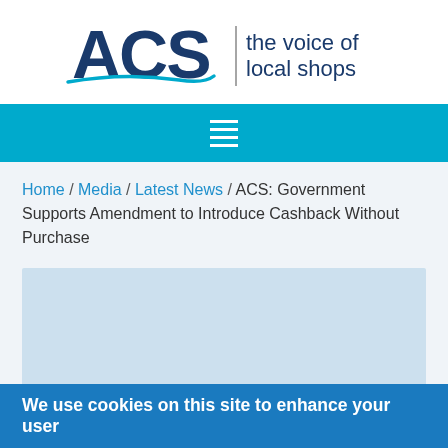[Figure (logo): ACS logo with text 'the voice of local shops']
[Figure (other): Navigation bar with hamburger menu icon]
Home / Media / Latest News / ACS: Government Supports Amendment to Introduce Cashback Without Purchase
[Figure (other): Light blue placeholder content image area]
We use cookies on this site to enhance your user